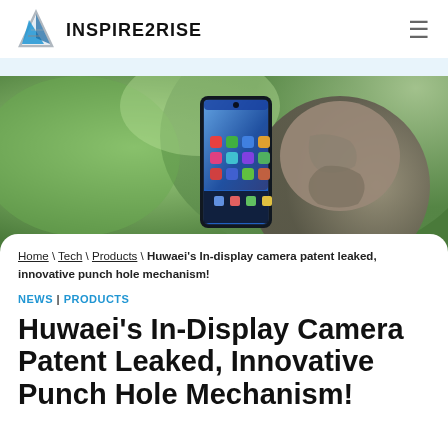INSPIRE2RISE
[Figure (photo): A smartphone with colorful app icons on its screen, leaning against a stone statue/sculpture outdoors with green foliage in the background.]
Home \ Tech \ Products \ Huwaei's In-display camera patent leaked, innovative punch hole mechanism!
NEWS | PRODUCTS
Huwaei's In-Display Camera Patent Leaked, Innovative Punch Hole Mechanism!